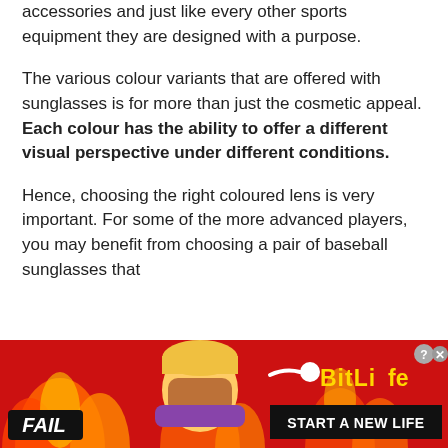accessories and just like every other sports equipment they are designed with a purpose.
The various colour variants that are offered with sunglasses is for more than just the cosmetic appeal. Each colour has the ability to offer a different visual perspective under different conditions.
Hence, choosing the right coloured lens is very important. For some of the more advanced players, you may benefit from choosing a pair of baseball sunglasses that
[Figure (other): Advertisement banner for BitLife mobile game. Red and orange flame background. Left side shows 'FAIL' badge in black, animated character covering face, flame graphics. Right side shows BitLife logo in yellow text with a sperm icon, and a black banner reading 'START A NEW LIFE'. Top right has close/question icons.]